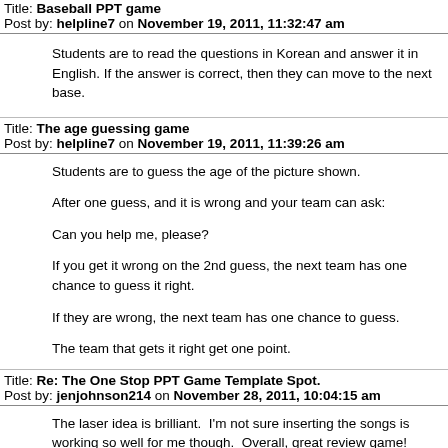Title: Baseball PPT game
Post by: helpline7 on November 19, 2011, 11:32:47 am
Students are to read the questions in Korean and answer it in English. If the answer is correct, then they can move to the next base.
Title: The age guessing game
Post by: helpline7 on November 19, 2011, 11:39:26 am
Students are to guess the age of the picture shown.
After one guess, and it is wrong and your team can ask:
Can you help me, please?
If you get it wrong on the 2nd guess, the next team has one chance to guess it right.
If they are wrong, the next team has one chance to guess.
The team that gets it right get one point.
Title: Re: The One Stop PPT Game Template Spot.
Post by: jenjohnson214 on November 28, 2011, 10:04:15 am
The laser idea is brilliant.  I'm not sure inserting the songs is working so well for me though.  Overall, great review game!